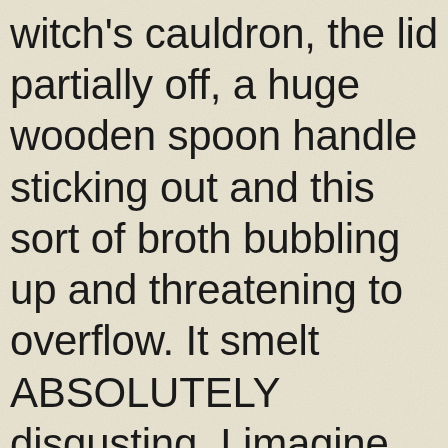witch's cauldron, the lid partially off, a huge wooden spoon handle sticking out and this sort of broth bubbling up and threatening to overflow. It smelt ABSOLUTELY disgusting. I imagine that possum meat is rather tough - they are